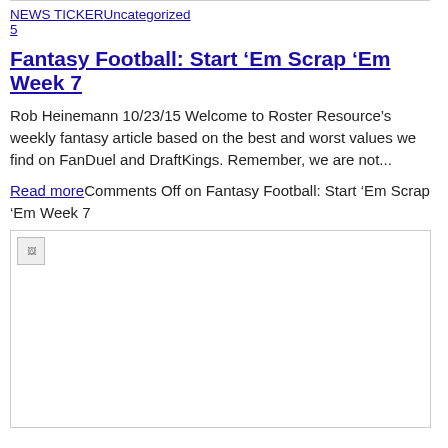NEWS TICKERUncategorized
5
Fantasy Football: Start ‘Em Scrap ‘Em Week 7
Rob Heinemann 10/23/15 Welcome to Roster Resource’s weekly fantasy article based on the best and worst values we find on FanDuel and DraftKings. Remember, we are not...
Read moreComments Off on Fantasy Football: Start ‘Em Scrap ‘Em Week 7
[Figure (other): Broken image placeholder at bottom of article]